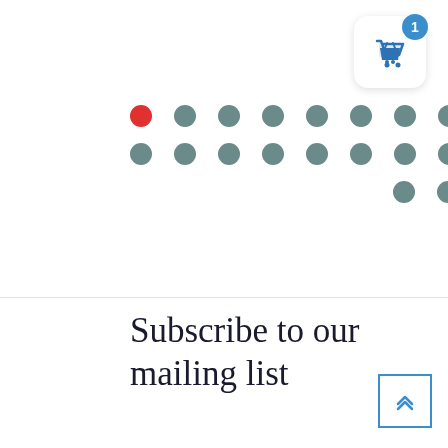[Figure (screenshot): Shopping cart icon button with badge showing 1 item, white rounded rectangle with blue basket icon and blue circular badge]
[Figure (other): Grid of dots: row 1 has one red dot followed by 11 grey dots, row 2 has 12 grey dots, row 3 has 3 grey dots centered]
[Figure (other): Pagination control with buttons: 1 (active/highlighted), 2, 3, and right arrow]
Subscribe to our mailing list
[Figure (other): Scroll to top button: blue outlined square with double up chevron arrow]